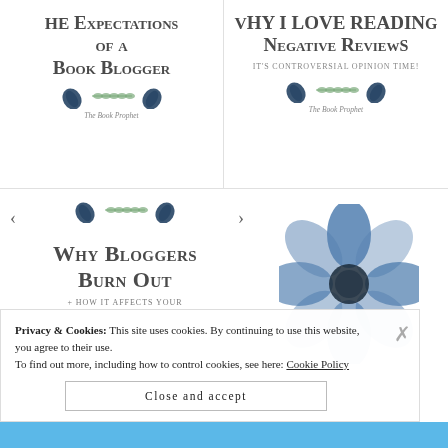[Figure (screenshot): Blog post card: 'The Expectations of a Book Blogger' with decorative feather and leaf motifs, byline 'The Book Prophet']
[Figure (screenshot): Blog post card: 'Why I Love Reading Negative Reviews – It's Controversial Opinion Time!' with decorative feather and leaf motifs, byline 'The Book Prophet']
[Figure (screenshot): Blog post card: 'Why Bloggers Burn Out + How It Affects Your' with navigation arrows and decorative feather motifs]
[Figure (illustration): Blue watercolor flower illustration (anemone) on white background]
Privacy & Cookies: This site uses cookies. By continuing to use this website, you agree to their use. To find out more, including how to control cookies, see here: Cookie Policy
Close and accept